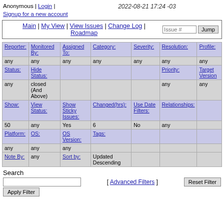Anonymous | Login | Signup for a new account   2022-08-21 17:24 -03
Main | My View | View Issues | Change Log | Roadmap
| Reporter: | Monitored By: | Assigned To: | Category: | Severity: | Resolution: | Profile: |
| --- | --- | --- | --- | --- | --- | --- |
| any | any | any | any | any | any | any |
| Status: | Hide Status: |  |  |  | Priority: | Target Version |
| any | closed (And Above) |  |  |  | any | any |
| Show: | View Status: | Show Sticky Issues: | Changed(hrs): | Use Date Filters: | Relationships: |  |
| 50 | any | Yes | 6 | No | any |  |
| Platform: | OS: | OS Version: | Tags: |  |  |  |
| any | any | any |  |  |  |  |
| Note By: | any | Sort by: | Updated Descending |  |  |  |
Search
[ Advanced Filters ]
Reset Filter
Apply Filter